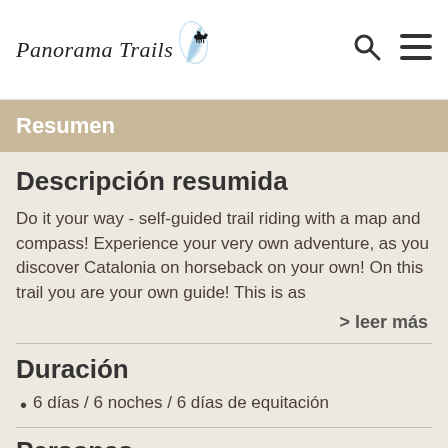[Figure (logo): Panorama Trails logo with horse and rider silhouette and blue feather/wing graphic]
Panorama Trails [logo] [search icon] [menu icon]
Resumen
Descripción resumida
Do it your way - self-guided trail riding with a map and compass! Experience your very own adventure, as you discover Catalonia on horseback on your own! On this trail you are your own guide! This is as
> leer más
Duración
6 días / 6 noches / 6 días de equitación
Personas